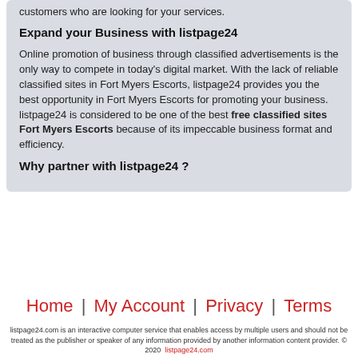customers who are looking for your services.
Expand your Business with listpage24
Online promotion of business through classified advertisements is the only way to compete in today's digital market. With the lack of reliable classified sites in Fort Myers Escorts, listpage24 provides you the best opportunity in Fort Myers Escorts for promoting your business. listpage24 is considered to be one of the best free classified sites Fort Myers Escorts because of its impeccable business format and efficiency.
Why partner with listpage24 ?
Home | My Account | Privacy | Terms
listpage24.com is an interactive computer service that enables access by multiple users and should not be treated as the publisher or speaker of any information provided by another information content provider. © 2020  listpage24.com